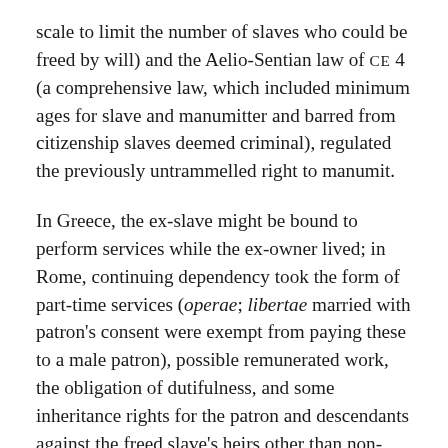scale to limit the number of slaves who could be freed by will) and the Aelio-Sentian law of CE 4 (a comprehensive law, which included minimum ages for slave and manumitter and barred from citizenship slaves deemed criminal), regulated the previously untrammelled right to manumit.
In Greece, the ex-slave might be bound to perform services while the ex-owner lived; in Rome, continuing dependency took the form of part-time services (operae; libertae married with patron's consent were exempt from paying these to a male patron), possible remunerated work, the obligation of dutifulness, and some inheritance rights for the patron and descendants against the freed slave's heirs other than non-adopted children. Freedmen were usually registered in the four urban voting